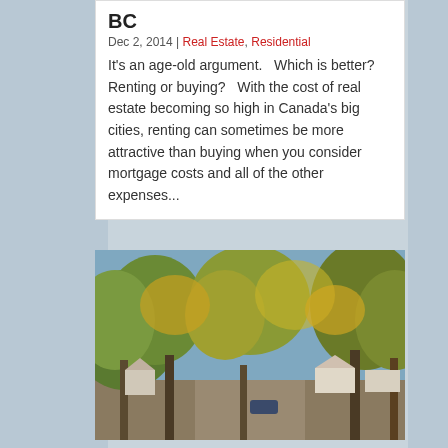BC
Dec 2, 2014 | Real Estate, Residential
It's an age-old argument.   Which is better? Renting or buying?   With the cost of real estate becoming so high in Canada's big cities, renting can sometimes be more attractive than buying when you consider mortgage costs and all of the other expenses...
[Figure (photo): A tree-lined suburban street in autumn with houses visible in the background, photographed during fall foliage season.]